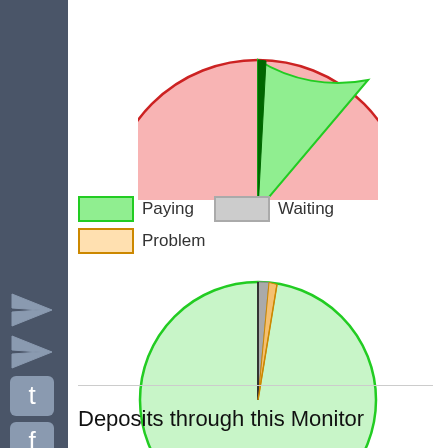[Figure (pie-chart): Pie chart showing large red/pink slice (majority) and small green slice at top, partially cropped]
[Figure (pie-chart): Legend showing Paying (green), Waiting (gray), Problem (orange)]
[Figure (pie-chart): Large light green circle with small dark/gray and orange slices near top center]
Deposits through this Monitor